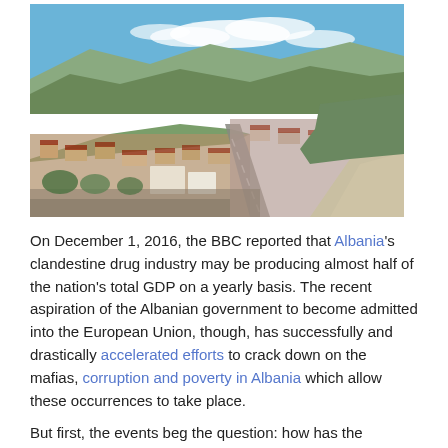[Figure (photo): Aerial panoramic view of an Albanian city (likely Berat) with red-roofed buildings, green hills, mountains in background, blue sky with clouds, and a road running through the center.]
On December 1, 2016, the BBC reported that Albania's clandestine drug industry may be producing almost half of the nation's total GDP on a yearly basis. The recent aspiration of the Albanian government to become admitted into the European Union, though, has successfully and drastically accelerated efforts to crack down on the mafias, corruption and poverty in Albania which allow these occurrences to take place.
But first, the events beg the question: how has the situation gotten so bad? Albania has been stable in recent decades, although not